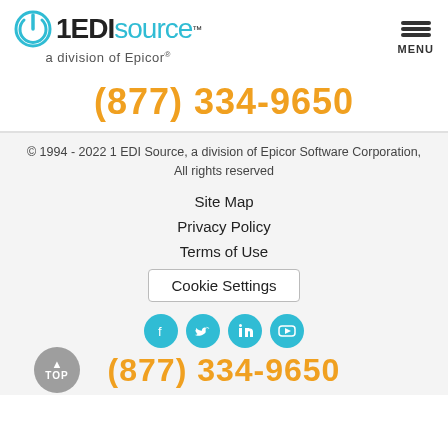[Figure (logo): 1EDISource logo - a division of Epicor, with power icon in teal and hamburger menu button]
(877) 334-9650
© 1994 - 2022 1 EDI Source, a division of Epicor Software Corporation, All rights reserved
Site Map
Privacy Policy
Terms of Use
Cookie Settings
[Figure (illustration): Social media icons: Facebook, Twitter, LinkedIn, YouTube - all teal circles]
(877) 334-9650